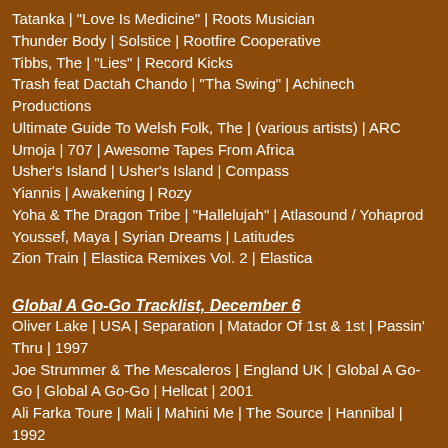Tatanka | "Love Is Medicine" | Roots Musician
Thunder Body | Solstice | Rootfire Cooperative
Tibbs, The | "Lies" | Record Kicks
Trash feat Dactah Chando | "Tha Swing" | Achinech Productions
Ultimate Guide To Welsh Folk, The | (various artists) | ARC
Umoja | 707 | Awesome Tapes From Africa
Usher's Island | Usher's Island | Compass
Yiannis | Awakening | Rozy
Yoha & The Dragon Tribe | "Hallelujah" | Atlasound / Yohaprod
Youssef, Maya | Syrian Dreams | Latitudes
Zion Train | Elastica Remixes Vol. 2 | Elastica
Global A Go-Go Tracklist, December 6
Oliver Lake | USA | Separation | Matador Of 1st & 1st | Passin' Thru | 1997
Joe Strummer & The Mescaleros | England UK | Global A Go-Go | Global A Go-Go | Hellcat | 2001
Ali Farka Toure | Mali | Mahini Me | The Source | Hannibal | 1992